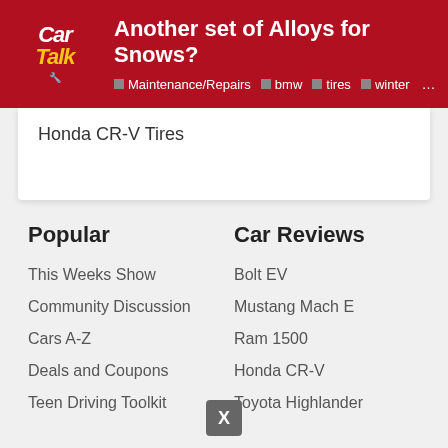Another set of Alloys for Snows? | Maintenance/Repairs · bmw · tires · winter ...
Honda CR-V Tires
Popular
This Weeks Show
Community Discussion
Cars A-Z
Deals and Coupons
Teen Driving Toolkit
Car Reviews
Bolt EV
Mustang Mach E
Ram 1500
Honda CR-V
Toyota Highlander
Buying Guides
Insurance
Product Reviews
Endurance Warranty